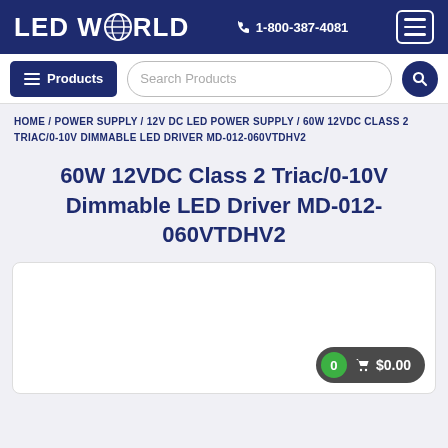LED WORLD  ☎ 1-800-387-4081
≡ Products  Search Products 🔍
HOME / POWER SUPPLY / 12V DC LED POWER SUPPLY / 60W 12VDC CLASS 2 TRIAC/0-10V DIMMABLE LED DRIVER MD-012-060VTDHV2
60W 12VDC Class 2 Triac/0-10V Dimmable LED Driver MD-012-060VTDHV2
[Figure (screenshot): White product image area with cart button showing 0 items and $0.00]